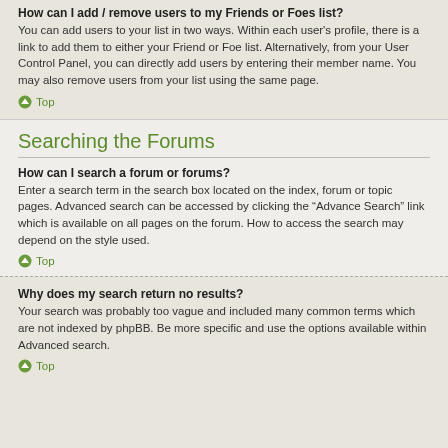How can I add / remove users to my Friends or Foes list?
You can add users to your list in two ways. Within each user's profile, there is a link to add them to either your Friend or Foe list. Alternatively, from your User Control Panel, you can directly add users by entering their member name. You may also remove users from your list using the same page.
Top
Searching the Forums
How can I search a forum or forums?
Enter a search term in the search box located on the index, forum or topic pages. Advanced search can be accessed by clicking the “Advance Search” link which is available on all pages on the forum. How to access the search may depend on the style used.
Top
Why does my search return no results?
Your search was probably too vague and included many common terms which are not indexed by phpBB. Be more specific and use the options available within Advanced search.
Top